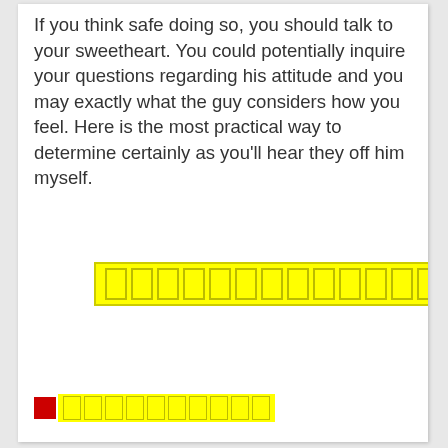If you think safe doing so, you should talk to your sweetheart. You could potentially inquire your questions regarding his attitude and you may exactly what the guy considers how you feel. Here is the most practical way to determine certainly as you'll hear they off him myself.
[Figure (other): A row of yellow highlighted rectangular boxes forming a horizontal bar, centered on the page]
[Figure (other): A small red square followed by a row of yellow highlighted rectangular boxes at the bottom left of the page]